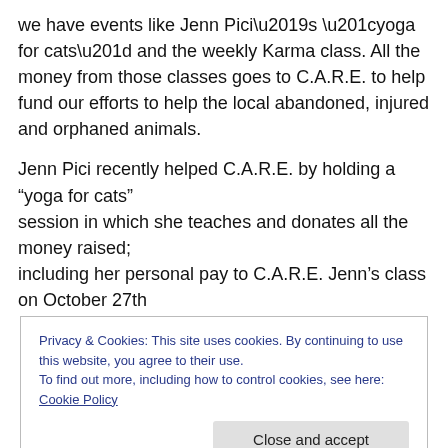we have events like Jenn Pici’s “yoga for cats” and the weekly Karma class. All the money from those classes goes to C.A.R.E. to help fund our efforts to help the local abandoned, injured and orphaned animals.
Jenn Pici recently helped C.A.R.E. by holding a “yoga for cats”
session in which she teaches and donates all the money raised;
including her personal pay to C.A.R.E. Jenn’s class on October 27th
Privacy & Cookies: This site uses cookies. By continuing to use this website, you agree to their use.
To find out more, including how to control cookies, see here: Cookie Policy
Close and accept